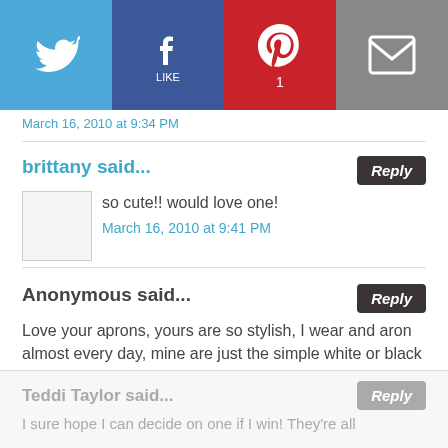[Figure (infographic): Social share bar with Twitter (blue), Facebook (dark blue), Pinterest (red, count: 1), and Email (gray) buttons]
March 16, 2010 at 9:34 PM
brittany said...
so cute!! would love one!
March 16, 2010 at 9:41 PM
Anonymous said...
Love your aprons, yours are so stylish, I wear and aron almost every day, mine are just the simple white or black chef aprons. Count me in I would love to win one. nhouston@gracetyler.org
March 16, 2010 at 10:14 PM
Teddi Taylor said...
I sure hope I can decide on one if I win! They're all